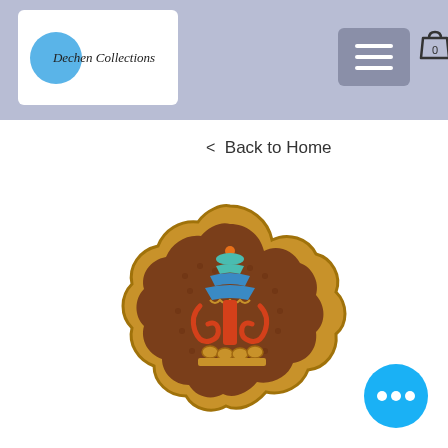Dechen Collections — navigation header with logo, hamburger menu, and cart icon
< Back to Home
[Figure (photo): A decorative wooden brooch or magnet in a flower/lotus shape with a dark brown textured background. Features a colorful Tibetan stupa/pagoda design with turquoise, teal, blue, and orange painted details on a golden/brass-colored wooden frame.]
[Figure (other): Blue circular chat/messenger button with three white dots in the bottom-right corner]